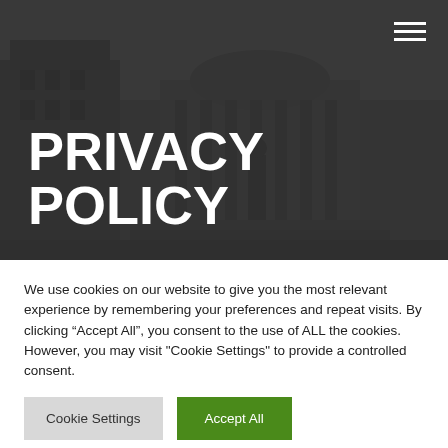[Figure (photo): Dark greyscale photo of a classical government/institutional building with columns and ornate architecture, partially obscured by dark overlay. Hamburger menu icon in top-right corner.]
PRIVACY POLICY
We use cookies on our website to give you the most relevant experience by remembering your preferences and repeat visits. By clicking “Accept All”, you consent to the use of ALL the cookies. However, you may visit "Cookie Settings" to provide a controlled consent.